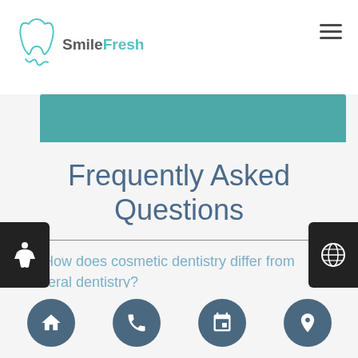SmileFresh
Frequently Asked Questions
Q. How does cosmetic dentistry differ from general dentistry?
A. General dentistry focuses on the health of your gums and teeth and helps prevent dental decay. Cosmetic dentistry provides options to help improve the look of a patient's smile. Based on the specific issue
Navigation icons: home, phone, calendar, location